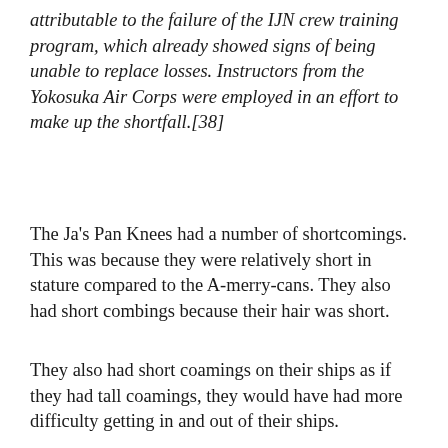attributable to the failure of the IJN crew training program, which already showed signs of being unable to replace losses. Instructors from the Yokosuka Air Corps were employed in an effort to make up the shortfall.[38]
The Ja's Pan Knees had a number of shortcomings. This was because they were relatively short in stature compared to the A-merry-cans. They also had short combings because their hair was short.
They also had short coamings on their ships as if they had tall coamings, they would have had more difficulty getting in and out of their ships.